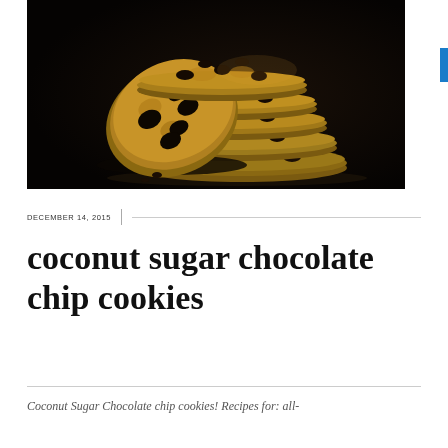[Figure (photo): Stack of golden-brown coconut sugar chocolate chip cookies photographed against a dark black background, showing layers of chunky cookies with visible chocolate chips]
DECEMBER 14, 2015
coconut sugar chocolate chip cookies
Coconut Sugar Chocolate chip cookies! Recipes for: all-